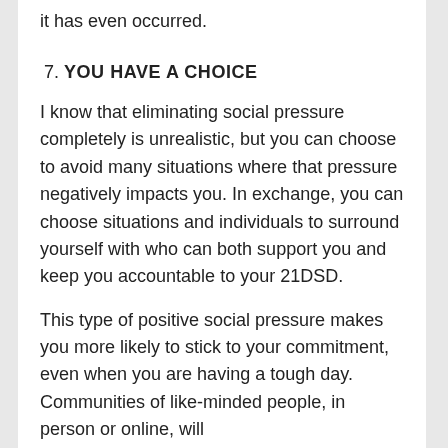it has even occurred.
7. YOU HAVE A CHOICE
I know that eliminating social pressure completely is unrealistic, but you can choose to avoid many situations where that pressure negatively impacts you. In exchange, you can choose situations and individuals to surround yourself with who can both support you and keep you accountable to your 21DSD.
This type of positive social pressure makes you more likely to stick to your commitment, even when you are having a tough day. Communities of like-minded people, in person or online, will